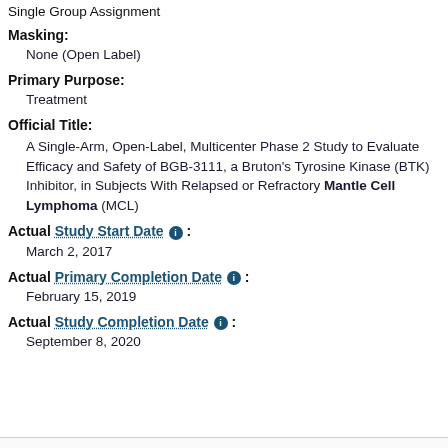Single Group Assignment
Masking:
None (Open Label)
Primary Purpose:
Treatment
Official Title:
A Single-Arm, Open-Label, Multicenter Phase 2 Study to Evaluate Efficacy and Safety of BGB-3111, a Bruton's Tyrosine Kinase (BTK) Inhibitor, in Subjects With Relapsed or Refractory Mantle Cell Lymphoma (MCL)
Actual Study Start Date :
March 2, 2017
Actual Primary Completion Date :
February 15, 2019
Actual Study Completion Date :
September 8, 2020